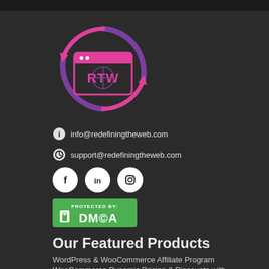[Figure (logo): RTW (Redefining The Web) circular logo with pink and purple arrows and a browser window icon in the center]
info@redefiningtheweb.com
support@redefiningtheweb.com
[Figure (illustration): Social media icons: Facebook, LinkedIn, Instagram in white circles on dark background]
[Figure (logo): DMCA Protected by badge, green background]
Our Featured Products
WordPress & WooCommerce Affiliate Program
WooCommerce Dynamic Pricing & Discounts with